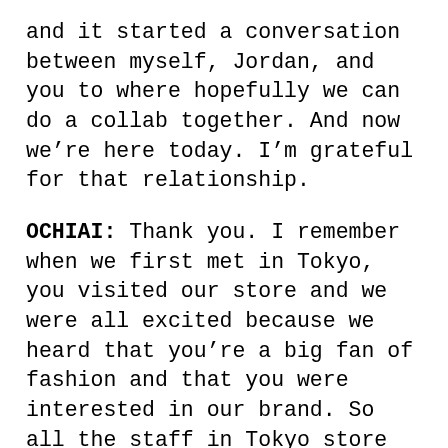and it started a conversation between myself, Jordan, and you to where hopefully we can do a collab together. And now we're here today. I'm grateful for that relationship.
OCHIAI: Thank you. I remember when we first met in Tokyo, you visited our store and we were all excited because we heard that you're a big fan of fashion and that you were interested in our brand. So all the staff in Tokyo store were really happy to see you. And then we visited Yoyogi Park for your event, which was really exciting.